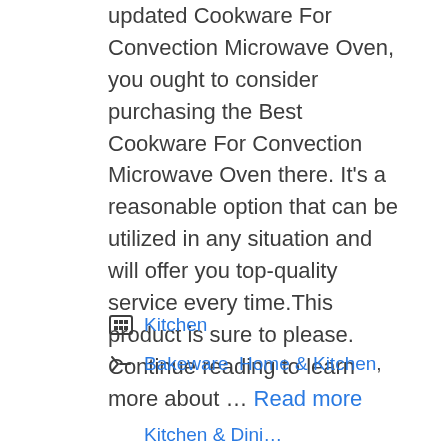updated Cookware For Convection Microwave Oven, you ought to consider purchasing the Best Cookware For Convection Microwave Oven there. It's a reasonable option that can be utilized in any situation and will offer you top-quality service every time.This product is sure to please. Continue reading to learn more about … Read more
Kitchen
Bakeware, Home & Kitchen, Kitchen & Dining